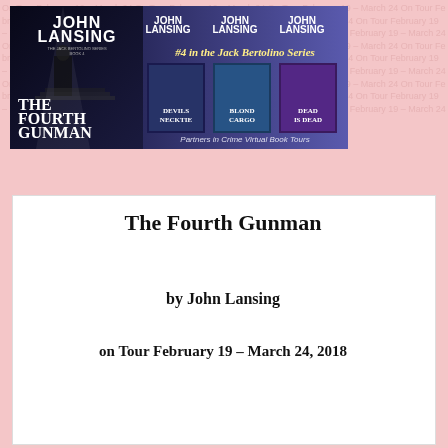[Figure (illustration): Book tour promotional banner for 'The Fourth Gunman' by John Lansing, #4 in the Jack Bertolino Series. Shows book cover on left with title 'The Fourth Gunman' and three other books in the series (Devils Necktie, Blond Cargo, Dead is Dead). Text reads '#4 in the Jack Bertolino Series' and 'Partners in Crime Virtual Book Tours'.]
The Fourth Gunman
by John Lansing
on Tour February 19 – March 24, 2018